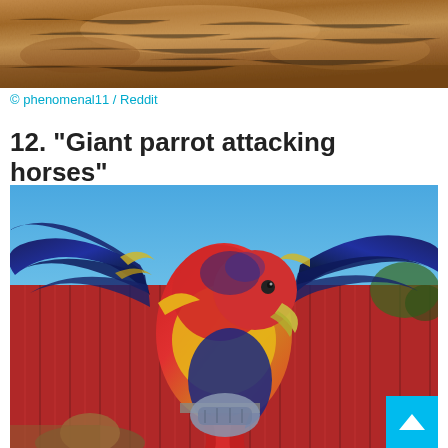[Figure (photo): Close-up photo of a golden/brown dog's fur, cropped to show just the back/body]
© phenomenal11 / Reddit
12. “Giant parrot attacking horses”
[Figure (photo): Large colorful macaw parrot with wings spread wide, blue/yellow/red feathers, perched on a fence post in front of a red barn wall and blue sky]